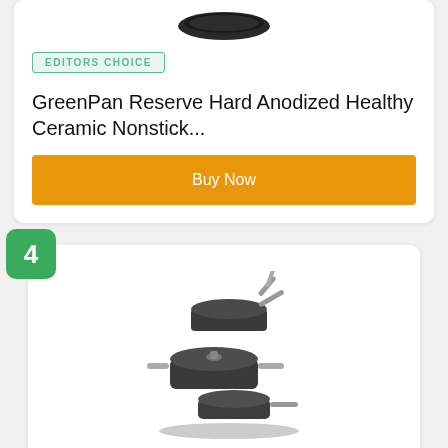[Figure (photo): Partial view of a dark pan/cookware product image at top of page]
EDITORS CHOICE
GreenPan Reserve Hard Anodized Healthy Ceramic Nonstick...
Buy Now
4
[Figure (photo): GreenPan Valencia Pro Hard Anodized cookware set with multiple dark pots and pans stacked together]
GreenPan Valencia Pro Hard Anodized Healthy Ceramic...
Buy Now